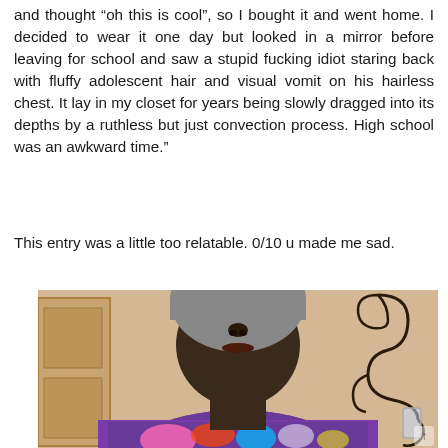and thought “oh this is cool”, so I bought it and went home. I decided to wear it one day but looked in a mirror before leaving for school and saw a stupid fucking idiot staring back with fluffy adolescent hair and visual vomit on his hairless chest. It lay in my closet for years being slowly dragged into its depths by a ruthless but just convection process. High school was an awkward time.”
This entry was a little too relatable. 0/10 u made me sad.
[Figure (photo): Selfie photo of a person wearing a grey beanie hat and a purple graphic t-shirt with colorful design. The photo is taken from the chin/neck down, showing the shirt. A decorative iron scroll and what appears to be a glass object are visible on the right side. A door frame is partially visible on the left.]